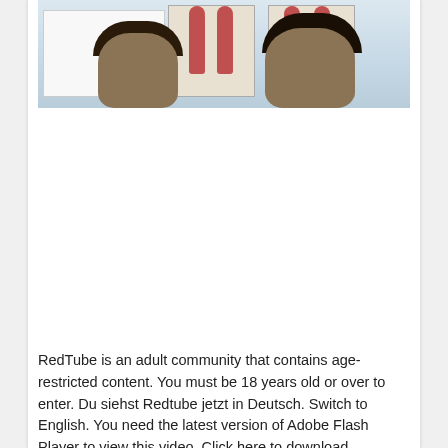[Figure (photo): Classroom scene with two students (heads visible in foreground) and anatomical body charts/posters on the wall behind them, plus a whiteboard on the left.]
RedTube is an adult community that contains age-restricted content. You must be 18 years old or over to enter. Du siehst Redtube jetzt in Deutsch. Switch to English. You need the latest version of Adobe Flash Player to view this video. Click here to download.